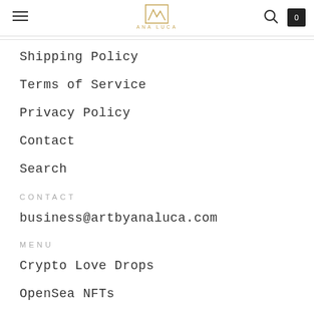ANA LUCA
Shipping Policy
Terms of Service
Privacy Policy
Contact
Search
CONTACT
business@artbyanaluca.com
MENU
Crypto Love Drops
OpenSea NFTs
Rarible NFTs